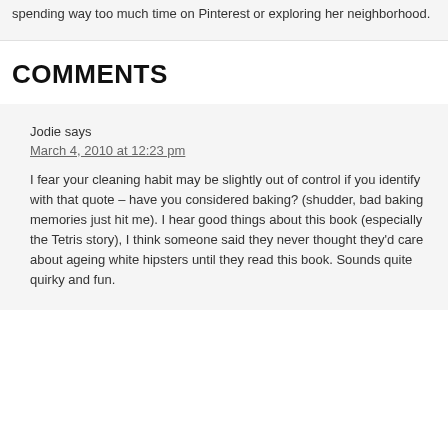spending way too much time on Pinterest or exploring her neighborhood.
COMMENTS
Jodie says
March 4, 2010 at 12:23 pm
I fear your cleaning habit may be slightly out of control if you identify with that quote – have you considered baking? (shudder, bad baking memories just hit me). I hear good things about this book (especially the Tetris story), I think someone said they never thought they'd care about ageing white hipsters until they read this book. Sounds quite quirky and fun.